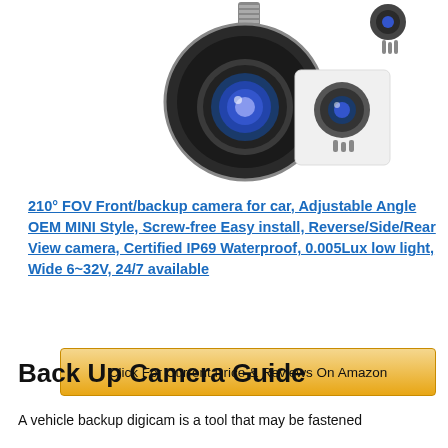[Figure (photo): Product photo of a black backup/front camera with dome shape and blue lens, along with a smaller inset showing the camera connector/mount.]
210° FOV Front/backup camera for car, Adjustable Angle OEM MINI Style, Screw-free Easy install, Reverse/Side/Rear View camera, Certified IP69 Waterproof, 0.005Lux low light, Wide 6~32V, 24/7 available
Click For Current Price & Reviews On Amazon
Back Up Camera Guide
A vehicle backup digicam is a tool that may be fastened